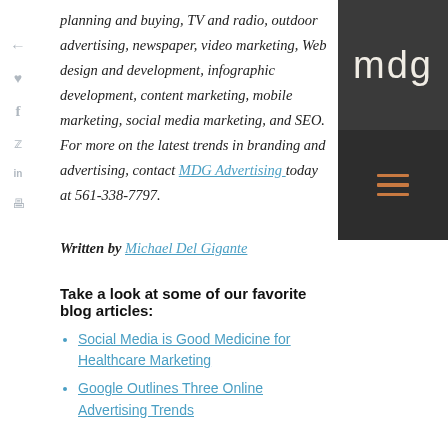planning and buying, TV and radio, outdoor advertising, newspaper, video marketing, Web design and development, infographic development, content marketing, mobile marketing, social media marketing, and SEO. For more on the latest trends in branding and advertising, contact MDG Advertising today at 561-338-7797.
[Figure (logo): MDG logo on dark background with hamburger menu icon below]
Written by Michael Del Gigante
Take a look at some of our favorite blog articles:
Social Media is Good Medicine for Healthcare Marketing
Google Outlines Three Online Advertising Trends